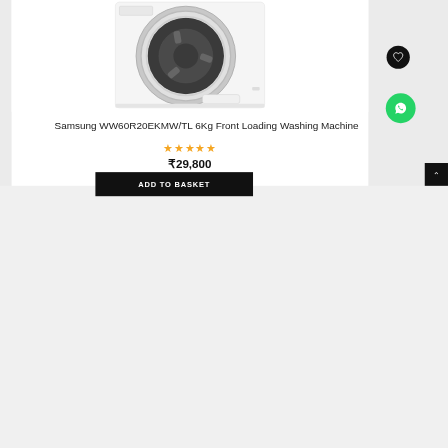[Figure (photo): Samsung front-loading washing machine, white body with silver circular door, product photo on white background]
Samsung WW60R20EKMW/TL 6Kg Front Loading Washing Machine
★★★★★
₹29,800
ADD TO BASKET